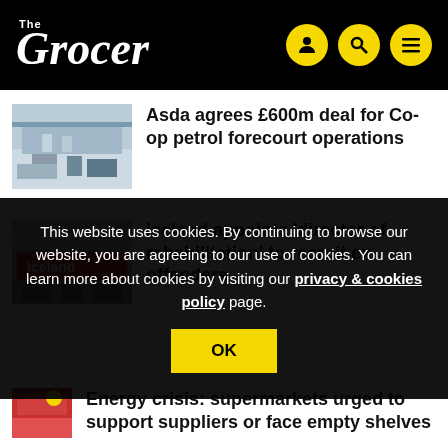The Grocer
[Figure (photo): Petrol station forecourt, outdoor image with a canopy and parked cars]
Asda agrees £600m deal for Co-op petrol forecourt operations
[Figure (photo): Iceland supermarket storefront with red fascia and logo]
Iceland appoints ‘director of rehabilitation’ to recruit ex-offenders
This website uses cookies. By continuing to browse our website, you are agreeing to our use of cookies. You can learn more about cookies by visiting our privacy & cookies policy page.
[Figure (photo): Partial red-coloured supermarket storefront image]
Energy crisis: supermarkets urged to support suppliers or face empty shelves